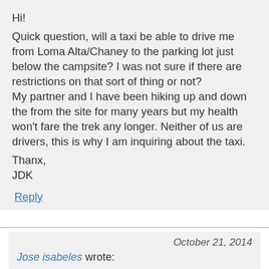Hi!
Quick question, will a taxi be able to drive me from Loma Alta/Chaney to the parking lot just below the campsite? I was not sure if there are restrictions on that sort of thing or not? My partner and I have been hiking up and down the from the site for many years but my health won't fare the trek any longer. Neither of us are drivers, this is why I am inquiring about the taxi.
Thanx,
JDK
Reply
October 21, 2014
Jose isabeles wrote: